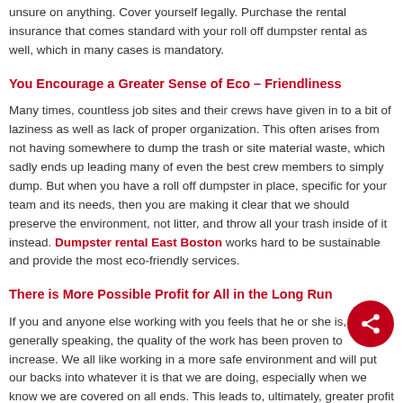unsure on anything. Cover yourself legally. Purchase the rental insurance that comes standard with your roll off dumpster rental as well, which in many cases is mandatory.
You Encourage a Greater Sense of Eco – Friendliness
Many times, countless job sites and their crews have given in to a bit of laziness as well as lack of proper organization. This often arises from not having somewhere to dump the trash or site material waste, which sadly ends up leading many of even the best crew members to simply dump. But when you have a roll off dumpster in place, specific for your team and its needs, then you are making it clear that we should preserve the environment, not litter, and throw all your trash inside of it instead. Dumpster rental East Boston works hard to be sustainable and provide the most eco-friendly services.
There is More Possible Profit for All in the Long Run
If you and anyone else working with you feels that he or she is, generally speaking, the quality of the work has been proven to increase. We all like working in a more safe environment and will put our backs into whatever it is that we are doing, especially when we know we are covered on all ends. This leads to, ultimately, greater profit for yourself